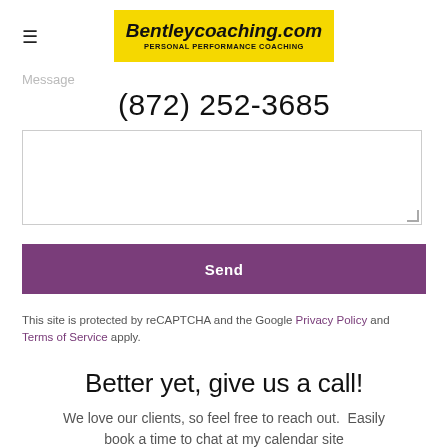[Figure (logo): Bentleycoaching.com logo — yellow background, bold italic black text 'Bentleycoaching.com' with subtitle 'PERSONAL PERFORMANCE COACHING']
Message
(872) 252-3685
Send
This site is protected by reCAPTCHA and the Google Privacy Policy and Terms of Service apply.
Better yet, give us a call!
We love our clients, so feel free to reach out.  Easily book a time to chat at my calendar site